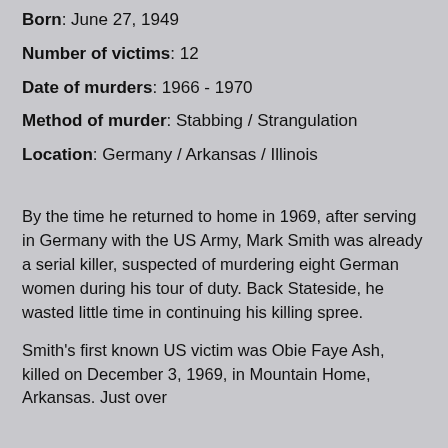Born: June 27, 1949
Number of victims: 12
Date of murders: 1966 - 1970
Method of murder: Stabbing / Strangulation
Location: Germany / Arkansas / Illinois
By the time he returned to home in 1969, after serving in Germany with the US Army, Mark Smith was already a serial killer, suspected of murdering eight German women during his tour of duty. Back Stateside, he wasted little time in continuing his killing spree.
Smith's first known US victim was Obie Faye Ash, killed on December 3, 1969, in Mountain Home, Arkansas. Just over